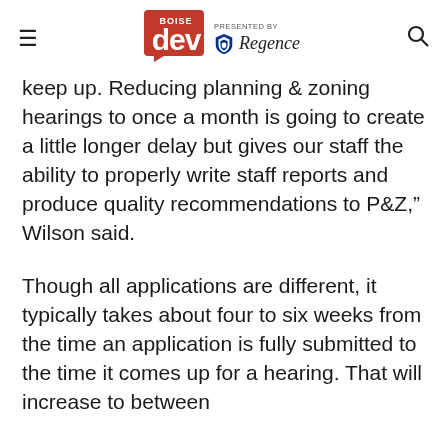Boise Dev — PRESENTED BY Regence
keep up. Reducing planning & zoning hearings to once a month is going to create a little longer delay but gives our staff the ability to properly write staff reports and produce quality recommendations to P&Z,” Wilson said.
Though all applications are different, it typically takes about four to six weeks from the time an application is fully submitted to the time it comes up for a hearing. That will increase to between